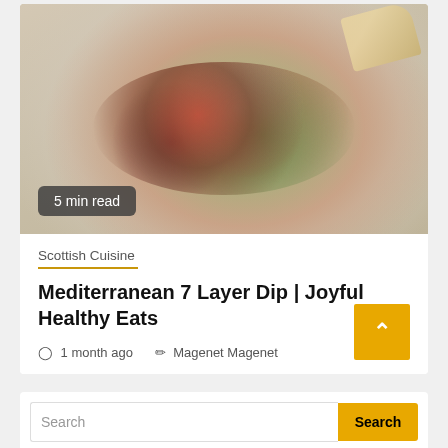[Figure (photo): Overhead photo of a Mediterranean 7 layer dip on a white plate, topped with diced tomatoes, cucumbers, olives, red onion, and feta cheese, with a pita chip on the side]
5 min read
Scottish Cuisine
Mediterranean 7 Layer Dip | Joyful Healthy Eats
1 month ago   Magenet Magenet
Search
Search